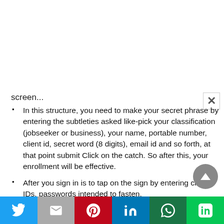screen...
In this structure, you need to make your secret phrase by entering the subtleties asked like-pick your classification (jobseeker or business), your name, portable number, client id, secret word (8 digits), email id and so forth, at that point submit Click on the catch. So after this, your enrollment will be effective.
After you sign in is to tap on the sign by entering client IDs, passwords intended to fasten.
After signing in, you need to finish your profile